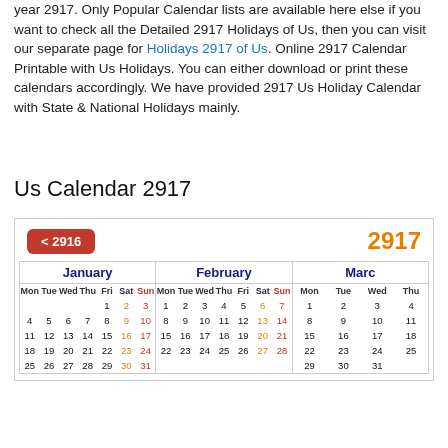year 2917. Only Popular Calendar lists are available here else if you want to check all the Detailed 2917 Holidays of Us, then you can visit our separate page for Holidays 2917 of Us. Online 2917 Calendar Printable with Us Holidays. You can either download or print these calendars accordingly. We have provided 2917 Us Holiday Calendar with State & National Holidays mainly.
Us Calendar 2917
[Figure (other): 2917 US calendar widget showing navigation button '< 2916', year label '2917', and monthly calendars for January, February, and March (partially visible). January starts on Friday the 1st, February starts on Monday the 1st, March starts on Wednesday the 1st.]